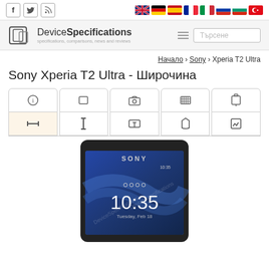Social icons and language flags header
[Figure (logo): DeviceSpecifications logo with phone icon and tagline: specifications, comparisons, news and reviews]
Начало › Sony › Xperia T2 Ultra
Sony Xperia T2 Ultra - Широчина
[Figure (screenshot): Navigation tabs with icons: info, tablet, camera, chip, battery (top row); width arrows, height arrows, weight, bag, pen icons (bottom row, width tab active)]
[Figure (photo): Sony Xperia T2 Ultra smartphone front view showing lock screen with time 10:35 and watermark DeviceSpecifications]